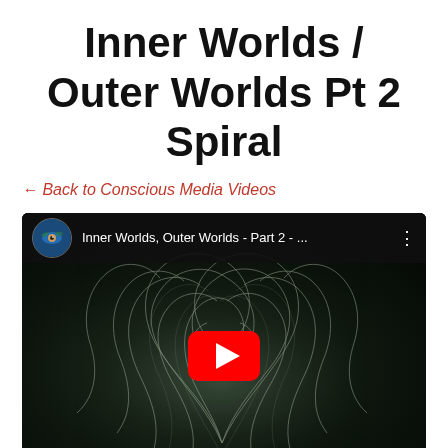Inner Worlds / Outer Worlds Pt 2 Spiral
← Back to Conscious Media Videos
[Figure (screenshot): YouTube video embed thumbnail for 'Inner Worlds, Outer Worlds - Part 2 - ...' showing a dark fractal/spiral pattern with swirling light tendrils on a dark background, with a YouTube play button overlay and the video title bar at the top.]